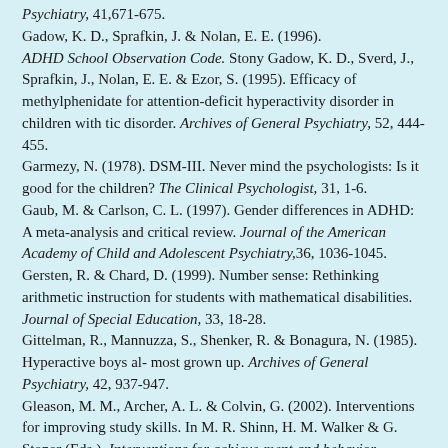Psychiatry, 41,671-675. Gadow, K. D., Sprafkin, J. & Nolan, E. E. (1996). ADHD School Observation Code. Stony Gadow, K. D., Sverd, J., Sprafkin, J., Nolan, E. E. & Ezor, S. (1995). Efficacy of methylphenidate for attention-deficit hyperactivity disorder in children with tic disorder. Archives of General Psychiatry, 52, 444-455. Garmezy, N. (1978). DSM-III. Never mind the psychologists: Is it good for the children? The Clinical Psychologist, 31, 1-6. Gaub, M. & Carlson, C. L. (1997). Gender differences in ADHD: A meta-analysis and critical review. Journal of the American Academy of Child and Adolescent Psychiatry,36, 1036-1045. Gersten, R. & Chard, D. (1999). Number sense: Rethinking arithmetic instruction for students with mathematical disabilities. Journal of Special Education, 33, 18-28. Gittelman, R., Mannuzza, S., Shenker, R. & Bonagura, N. (1985). Hyperactive boys al- most grown up. Archives of General Psychiatry, 42, 937-947. Gleason, M. M., Archer, A. L. & Colvin, G. (2002). Interventions for improving study skills. In M. R. Shinn, H. M. Walker & G. Stoner (Eds.). Interventions for achieve-ment and behavior problems, II: Preventive and remedial approaches